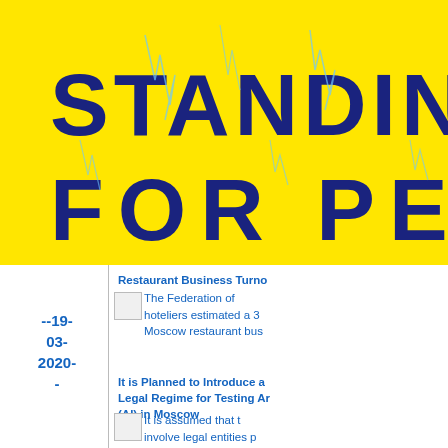[Figure (illustration): Yellow banner with large dark navy blue cracked/lightning-textured text reading 'STANDING FOR PEA' (partially cut off), positioned at the top of the page on a bright yellow background.]
Restaurant Business Turno
[Figure (illustration): Small image icon placeholder]
The Federation of hoteliers estimated a 3 Moscow restaurant bus
--19-03-2020-
It is Planned to Introduce a Legal Regime for Testing Ar (AI) in Moscow
[Figure (illustration): Small image icon placeholder]
It is assumed that t involve legal entities p development of AI, as